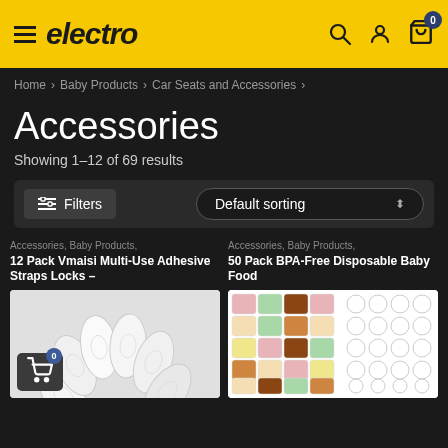electro
Home > Baby Products > Car Seats and Accessories >
Accessories
Showing 1–12 of 69 results
Filters | Default sorting
Accessories, Baby Products,
12 Pack Vmaisi Multi-Use Adhesive Straps Locks –
[Figure (photo): White adhesive strap locks fanned out on a white background, with a shopping cart badge showing 0]
Accessories, Baby Products,
50 Pack BPA-Free Disposable Baby Food
[Figure (photo): Grid of colorful disposable baby food containers arranged in rows]